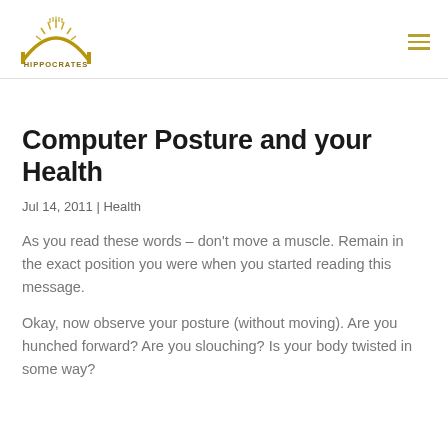[Figure (logo): Hippocrates logo — semicircular arch with sun rays and text HIPPOCRATES in yellow/gold tones]
Computer Posture and your Health
Jul 14, 2011 | Health
As you read these words – don't move a muscle. Remain in the exact position you were when you started reading this message.
Okay, now observe your posture (without moving). Are you hunched forward? Are you slouching? Is your body twisted in some way?